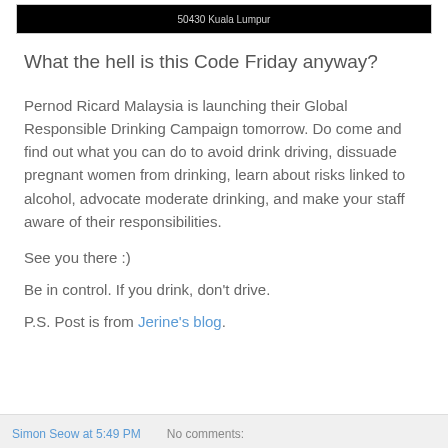[Figure (screenshot): Black banner image with text '50430 Kuala Lumpur' in light grey]
What the hell is this Code Friday anyway?
Pernod Ricard Malaysia is launching their Global Responsible Drinking Campaign tomorrow. Do come and find out what you can do to avoid drink driving, dissuade pregnant women from drinking, learn about risks linked to alcohol, advocate moderate drinking, and make your staff aware of their responsibilities.
See you there :)
Be in control. If you drink, don't drive.
P.S. Post is from Jerine's blog.
Simon Seow at 5:49 PM   No comments: